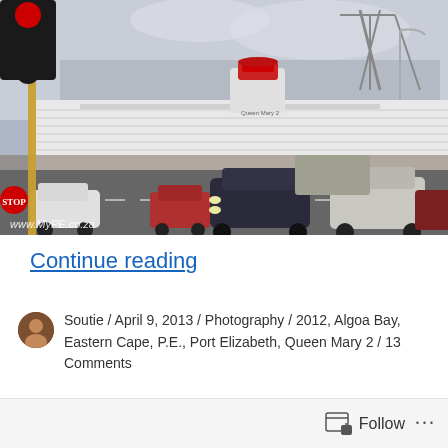[Figure (photo): Street-level photo showing traffic with cars and a truck in the foreground, a large cruise ship (Queen Mary 2) visible in the background at port, traffic lights and street pole on the left, watermark 'www.MyPE.co.za' in lower left corner.]
Continue reading
Soutie / April 9, 2013 / Photography / 2012, Algoa Bay, Eastern Cape, P.E., Port Elizabeth, Queen Mary 2 / 13 Comments
Follow